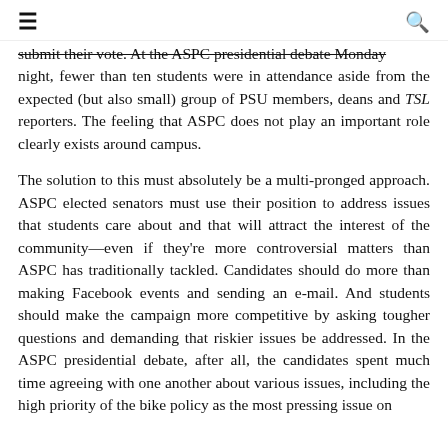≡  🔍
submit their vote. At the ASPC presidential debate Monday night, fewer than ten students were in attendance aside from the expected (but also small) group of PSU members, deans and TSL reporters. The feeling that ASPC does not play an important role clearly exists around campus.
The solution to this must absolutely be a multi-pronged approach. ASPC elected senators must use their position to address issues that students care about and that will attract the interest of the community—even if they're more controversial matters than ASPC has traditionally tackled. Candidates should do more than making Facebook events and sending an e-mail. And students should make the campaign more competitive by asking tougher questions and demanding that riskier issues be addressed. In the ASPC presidential debate, after all, the candidates spent much time agreeing with one another about various issues, including the high priority of the bike policy as the most pressing issue on